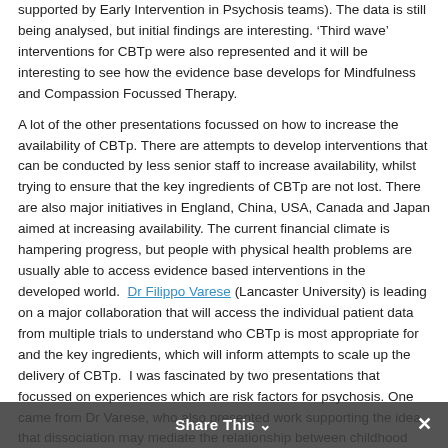supported by Early Intervention in Psychosis teams). The data is still being analysed, but initial findings are interesting. 'Third wave' interventions for CBTp were also represented and it will be interesting to see how the evidence base develops for Mindfulness and Compassion Focussed Therapy.
A lot of the other presentations focussed on how to increase the availability of CBTp. There are attempts to develop interventions that can be conducted by less senior staff to increase availability, whilst trying to ensure that the key ingredients of CBTp are not lost. There are also major initiatives in England, China, USA, Canada and Japan aimed at increasing availability. The current financial climate is hampering progress, but people with physical health problems are usually able to access evidence based interventions in the developed world. Dr Filippo Varese (Lancaster University) is leading on a major collaboration that will access the individual patient data from multiple trials to understand who CBTp is most appropriate for and the key ingredients, which will inform attempts to scale up the delivery of CBTp. I was fascinated by two presentations that focussed on experiences which are risk factors for psychosis. One came from Dr Varese, who also presented work supporting the idea that dissociation may mediate the relationship between childhood trauma and voice-hearing. This is an area where there is a keen interest in HtV, as we want to understand the mechanisms behind voice-hearing, to challenge stigma and improve treatment. Another was the presentation by Professor Paul Bebbington (Centre for Crime and Justice Studies), who used data from the Psychiatric Morbidity Study and a very big computer in Switzerland to build a Directed Acyclic Graph (all
Share This